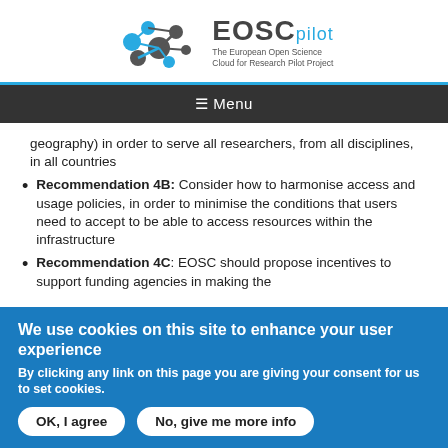[Figure (logo): EOSCpilot logo — The European Open Science Cloud for Research Pilot Project]
≡ Menu
geography) in order to serve all researchers, from all disciplines, in all countries
Recommendation 4B: Consider how to harmonise access and usage policies, in order to minimise the conditions that users need to accept to be able to access resources within the infrastructure
Recommendation 4C: EOSC should propose incentives to support funding agencies in making the
We use cookies on this site to enhance your user experience
By clicking any link on this page you are giving your consent for us to set cookies.
OK, I agree    No, give me more info